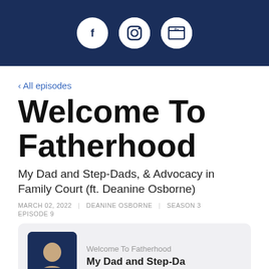[Figure (other): Dark navy header bar with three white circular social media icons: Facebook (f), Instagram (camera), and a web/browser icon]
‹ All episodes
Welcome To Fatherhood
My Dad and Step-Dads, & Advocacy in Family Court (ft. Deanine Osborne)
MARCH 02, 2022    DEANINE OSBORNE    SEASON 3    EPISODE 9
[Figure (other): Podcast episode card with a dark blue thumbnail image showing a person, show title 'Welcome To Fatherhood' and episode title 'My Dad and Step-Da' (truncated)]